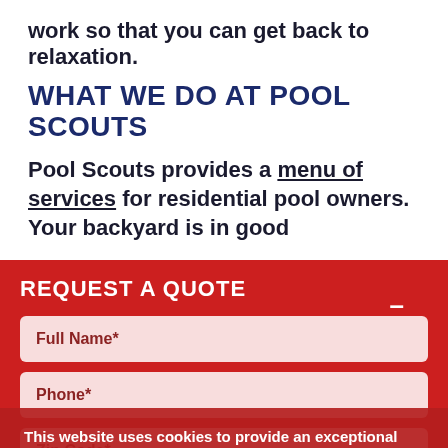work so that you can get back to relaxation.
WHAT WE DO AT POOL SCOUTS
Pool Scouts provides a menu of services for residential pool owners. Your backyard is in good
REQUEST A QUOTE
Full Name*
Phone*
Zip Code*
This website uses cookies to provide an exceptional user experience. Cookies enable you to enjoy certain features and allow us to understand how our site is being used. By continuing to use our site, you consent to our use of cookies. Read more
Decline
Accept Cookies
START YOUR QUOTE